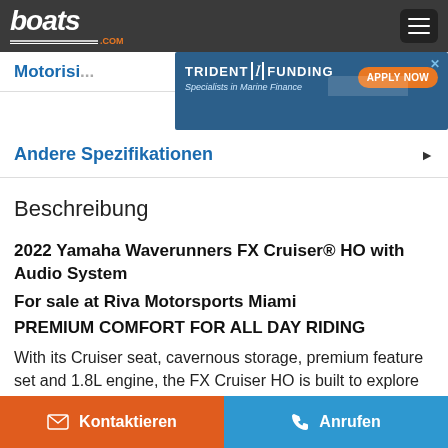boats.com
[Figure (screenshot): Trident Funding advertisement banner - Specialists in Marine Finance with Apply Now button]
Motorisi...
Andere Spezifikationen
Beschreibung
2022 Yamaha Waverunners FX Cruiser® HO with Audio System
For sale at Riva Motorsports Miami
PREMIUM COMFORT FOR ALL DAY RIDING
With its Cruiser seat, cavernous storage, premium feature set and 1.8L engine, the FX Cruiser HO is built to explore the
Kontaktieren   Anrufen